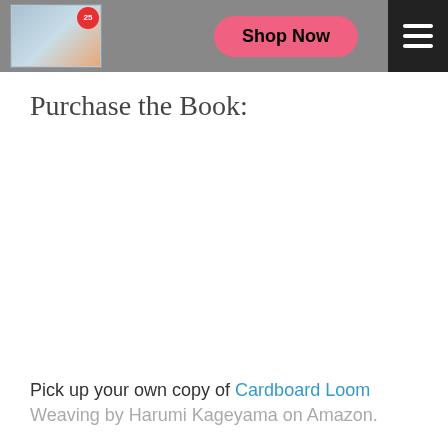[Figure (screenshot): Website banner with book cover image showing a colorful pattern book with '25' badge, a pink 'Shop Now' button, and a hamburger menu icon on dark background]
Purchase the Book:
Pick up your own copy of Cardboard Loom Weaving by Harumi Kageyama on Amazon.